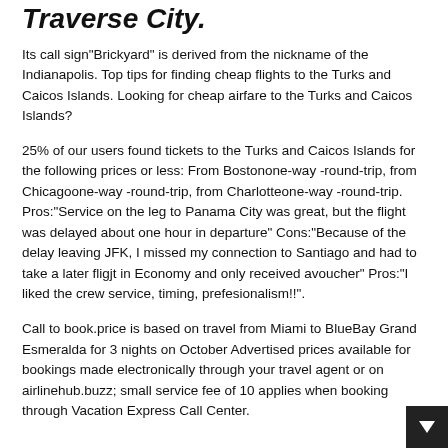Traverse City.
Its call sign"Brickyard" is derived from the nickname of the Indianapolis. Top tips for finding cheap flights to the Turks and Caicos Islands. Looking for cheap airfare to the Turks and Caicos Islands?
25% of our users found tickets to the Turks and Caicos Islands for the following prices or less: From Bostonone-way -round-trip, from Chicagoone-way -round-trip, from Charlotteone-way -round-trip. Pros:"Service on the leg to Panama City was great, but the flight was delayed about one hour in departure" Cons:"Because of the delay leaving JFK, I missed my connection to Santiago and had to take a later fligjt in Economy and only received avoucher" Pros:"I liked the crew service, timing, prefesionalism!!".
Call to book.price is based on travel from Miami to BlueBay Grand Esmeralda for 3 nights on October Advertised prices available for bookings made electronically through your travel agent or on airlinehub.buzz; small service fee of 10 applies when booking through Vacation Express Call Center.